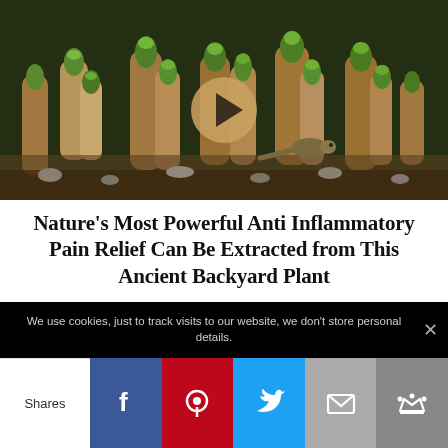[Figure (photo): Close-up photo of succulent or cactus-like plant with green budding tips and brown/tan stems, with a circular play button overlay in the center]
Nature’s Most Powerful Anti Inflammatory Pain Relief Can Be Extracted from This Ancient Backyard Plant
[Figure (other): Tan/brown rounded rectangle button reading 'Watch Video']
We use cookies, just to track visits to our website, we don’t store personal details.
Shares